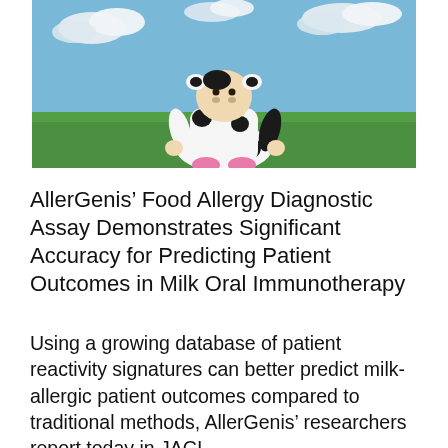[Figure (photo): A young child wearing a black-and-white cow costume sitting on green grass with a blue sky and clouds in the background.]
AllerGenis’ Food Allergy Diagnostic Assay Demonstrates Significant Accuracy for Predicting Patient Outcomes in Milk Oral Immunotherapy
Using a growing database of patient reactivity signatures can better predict milk-allergic patient outcomes compared to traditional methods, AllerGenis’ researchers report today in JACI